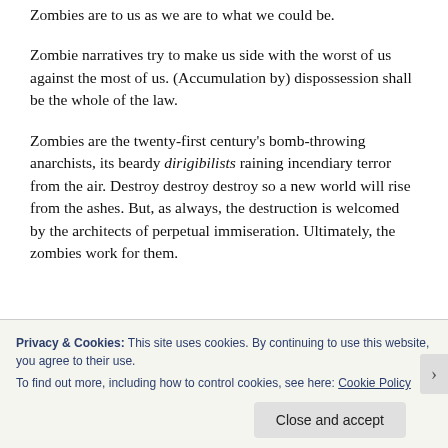Zombies are to us as we are to what we could be.
Zombie narratives try to make us side with the worst of us against the most of us. (Accumulation by) dispossession shall be the whole of the law.
Zombies are the twenty-first century's bomb-throwing anarchists, its beardy dirigibilists raining incendiary terror from the air. Destroy destroy destroy so a new world will rise from the ashes. But, as always, the destruction is welcomed by the architects of perpetual immiseration. Ultimately, the zombies work for them.
Privacy & Cookies: This site uses cookies. By continuing to use this website, you agree to their use.
To find out more, including how to control cookies, see here: Cookie Policy